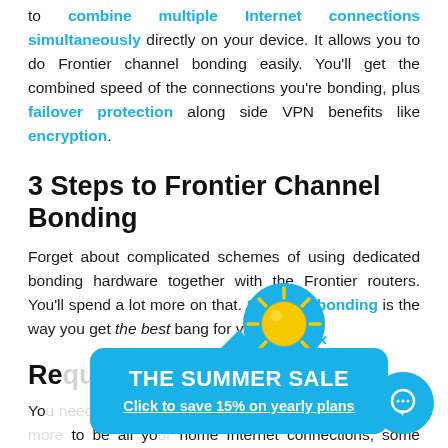to combine multiple Internet connections simultaneously directly on your device. It allows you to do Frontier channel bonding easily. You'll get the combined speed of the connections you're bonding, plus failover protection along side VPN benefits like encryption.
3 Steps to Frontier Channel Bonding
Forget about complicated schemes of using dedicated bonding hardware together with the Frontier routers. You'll spend a lot more on that. Software bonding is the way you get the best bang for your buck.
Re[quireme]nties
Yo[u need] ntier Internet co[nnections] tier Internet tw[o or more] to be all yo[ur] home Internet connections, some may be nearby Frontier
[Figure (infographic): Popup advertisement: THE SUMMER SALE - Click to save 15% on yearly plans, with a sun icon above and a close (x) button. A circular chat bubble is in the bottom right corner.]